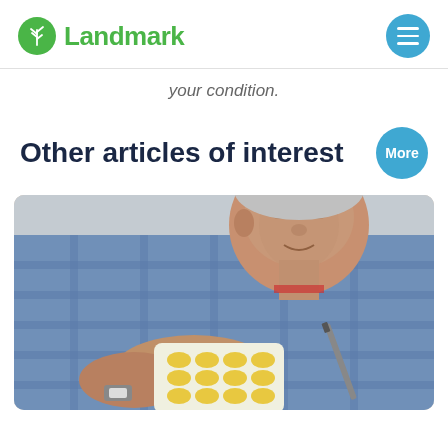Landmark
your condition.
Other articles of interest
[Figure (photo): An elderly man in a blue plaid shirt holding a blister pack of yellow pills and a pen, looking at the medication closely.]